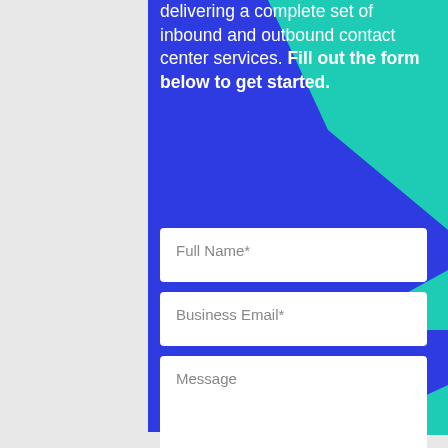delivering a complete set of inbound and outbound contact center services. Fill out the form below to get started.
[Figure (screenshot): Contact form with fields for Full Name*, Business Email*, Message, and a SEND button on a blue background with teal geometric accent shapes.]